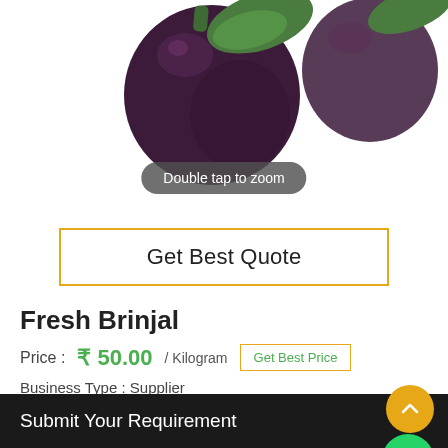[Figure (photo): Fresh brinjal (eggplant) product photo on white background, showing round dark purple eggplant with green stem]
Double tap to zoom
Get Best Quote
Fresh Brinjal
Price : ₹ 50.00 / Kilogram  Get Best Price
Business Type : Supplier
Product Details
Color   Voilet
Submit Your Requirement